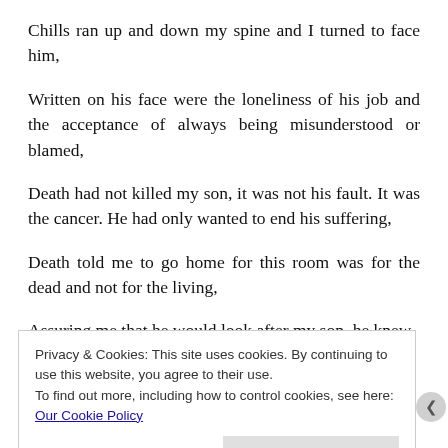Chills ran up and down my spine and I turned to face him,
Written on his face were the loneliness of his job and the acceptance of always being misunderstood or blamed,
Death had not killed my son, it was not his fault. It was the cancer. He had only wanted to end his suffering,
Death told me to go home for this room was for the dead and not for the living,
Assuring me that he would look after my son, he knew
Privacy & Cookies: This site uses cookies. By continuing to use this website, you agree to their use.
To find out more, including how to control cookies, see here: Our Cookie Policy